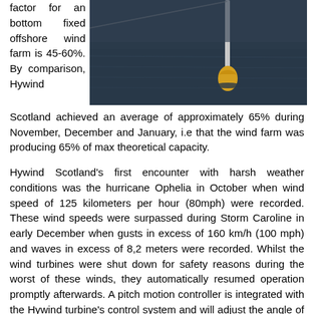factor for an bottom fixed offshore wind farm is 45-60%. By comparison, Hywind
[Figure (photo): Aerial or close-up photo of a floating offshore wind turbine structure (yellow buoy/foundation visible) on dark ocean water, with the turbine tower extending upward.]
Scotland achieved an average of approximately 65% during November, December and January, i.e that the wind farm was producing 65% of max theoretical capacity.
Hywind Scotland's first encounter with harsh weather conditions was the hurricane Ophelia in October when wind speed of 125 kilometers per hour (80mph) were recorded. These wind speeds were surpassed during Storm Caroline in early December when gusts in excess of 160 km/h (100 mph) and waves in excess of 8,2 meters were recorded. Whilst the wind turbines were shut down for safety reasons during the worst of these winds, they automatically resumed operation promptly afterwards. A pitch motion controller is integrated with the Hywind turbine's control system and will adjust the angle of the turbine blades during heavy winds which mitigates excessive motions of the structure. Statoil and Masdar are having an ambition to reduce the costs of energy from the Hywind floating